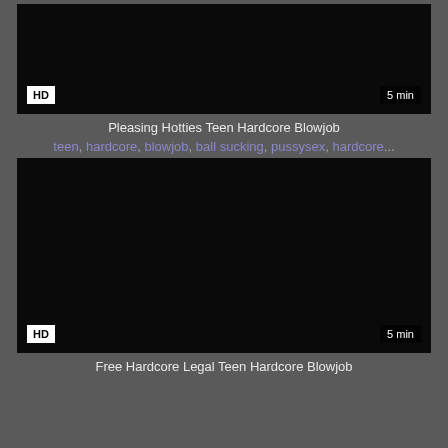[Figure (screenshot): Dark video thumbnail with HD badge and 5 min duration label]
Pleasing Hotties Teen Hardcore Blowjob
teen, hardcore, blowjob, ball sucking, pussysex, hardcore...
[Figure (screenshot): Dark video thumbnail with HD badge and 5 min duration label]
Free Hardcore Legal Teen Hardcore Blowjob